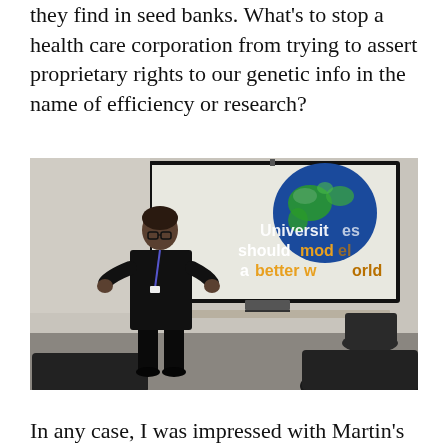they find in seed banks. What's to stop a health care corporation from trying to assert proprietary rights to our genetic info in the name of efficiency or research?
[Figure (photo): A person in a black leather jacket stands in front of a projection screen showing a globe image and the text 'Universities should model a better world'. There is a table with a laptop behind them and chairs in the foreground.]
In any case, I was impressed with Martin's